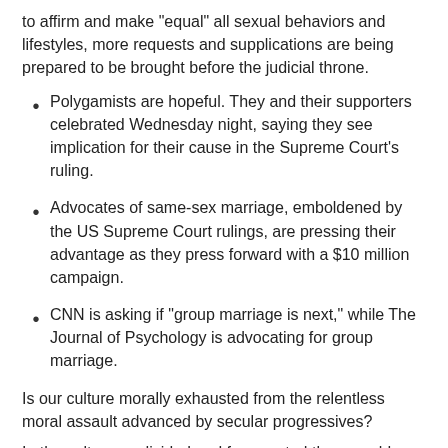to affirm and make "equal" all sexual behaviors and lifestyles, more requests and supplications are being prepared to be brought before the judicial throne.
Polygamists are hopeful. They and their supporters celebrated Wednesday night, saying they see implication for their cause in the Supreme Court's ruling.
Advocates of same-sex marriage, emboldened by the US Supreme Court rulings, are pressing their advantage as they press forward with a $10 million campaign.
CNN is asking if "group marriage is next," while The Journal of Psychology is advocating for group marriage.
Is our culture morally exhausted from the relentless moral assault advanced by secular progressives?
In the culture so divided and fragmented there could never